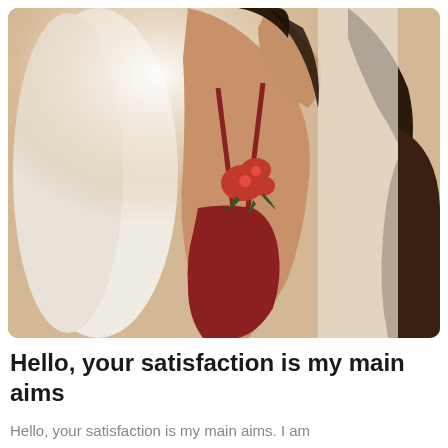[Figure (photo): A woman wearing a red swimsuit/bodysuit with a floral embroidery detail on the torso, posing with one arm raised, photographed indoors next to a white structure.]
Hello, your satisfaction is my main aims
Hello, your satisfaction is my main aims. I am